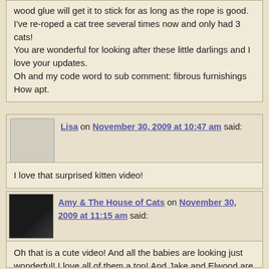wood glue will get it to stick for as long as the rope is good. I've re-roped a cat tree several times now and only had 3 cats!
You are wonderful for looking after these little darlings and I love your updates.
Oh and my code word to sub comment: fibrous furnishings
How apt.
Lisa on November 30, 2009 at 10:47 am said:
I love that surprised kitten video!
Amy & The House of Cats on November 30, 2009 at 11:15 am said:
Oh that is a cute video! And all the babies are looking just wonderful! I love all of them a ton! And Jake and Elwood are total cuties too – you must go crazy from all the cute. And, since I am behind this may have been mentioned in an earlier post I haven't read yet, but any news on the TB6 who were waiting on homes?